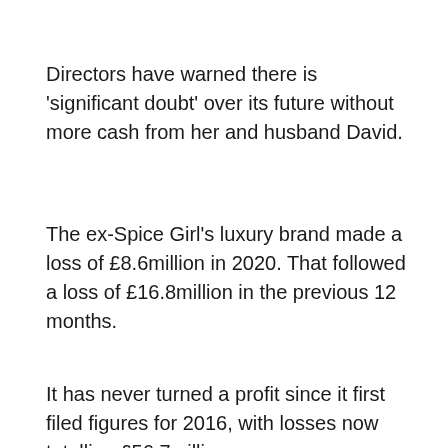Directors have warned there is 'significant doubt' over its future without more cash from her and husband David.
The ex-Spice Girl's luxury brand made a loss of £8.6million in 2020. That followed a loss of £16.8million in the previous 12 months.
It has never turned a profit since it first filed figures for 2016, with losses now totalling £56.7million.
[Figure (photo): Photo of a woman with long dark hair standing in what appears to be a retail store or shopping environment, with other people and store lighting visible in the background.]